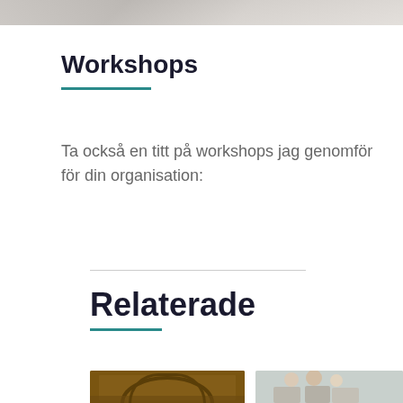[Figure (photo): Top portion of a photo showing people, partially cropped at the top of the page]
Workshops
Ta också en titt på workshops jag genomför för din organisation:
Relaterade
[Figure (photo): Photo of a library with arched architecture, bottom of page left]
[Figure (photo): Photo of a group of people, bottom of page right]